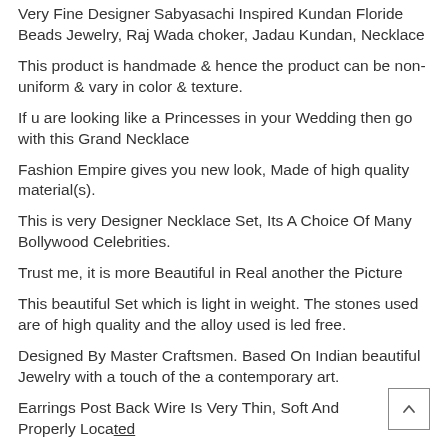Very Fine Designer Sabyasachi Inspired Kundan Floride Beads Jewelry, Raj Wada choker, Jadau Kundan, Necklace
This product is handmade & hence the product can be non-uniform & vary in color & texture.
If u are looking like a Princesses in your Wedding then go with this Grand Necklace
Fashion Empire gives you new look, Made of high quality material(s).
This is very Designer Necklace Set, Its A Choice Of Many Bollywood Celebrities.
Trust me, it is more Beautiful in Real another the Picture
This beautiful Set which is light in weight. The stones used are of high quality and the alloy used is led free.
Designed By Master Craftsmen. Based On Indian beautiful Jewelry with a touch of the a contemporary art.
Earrings Post Back Wire Is Very Thin, Soft And Properly Located